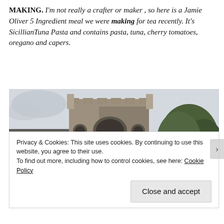MAKING. I'm not really a crafter or maker , so here is a Jamie Oliver 5 Ingredient meal we were making for tea recently. It's SicillianTuna Pasta and contains pasta, tuna, cherry tomatoes, oregano and capers.
[Figure (photo): Photograph of a stone church tower with arched windows, a slate roof visible on the left, a large tree in the background on the right, and a person with red hair partially visible at the bottom.]
Privacy & Cookies: This site uses cookies. By continuing to use this website, you agree to their use.
To find out more, including how to control cookies, see here: Cookie Policy
Close and accept